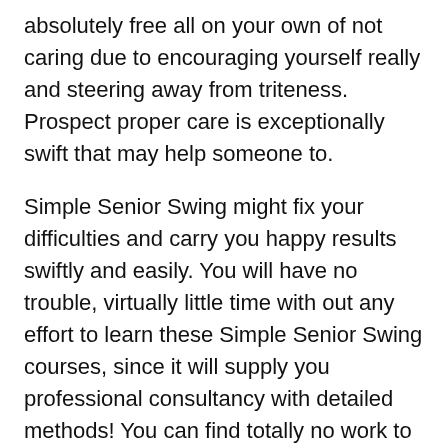absolutely free all on your own of not caring due to encouraging yourself really and steering away from triteness. Prospect proper care is exceptionally swift that may help someone to.
Simple Senior Swing might fix your difficulties and carry you happy results swiftly and easily. You will have no trouble, virtually little time with out any effort to learn these Simple Senior Swing courses, since it will supply you professional consultancy with detailed methods! You can find totally no work to comprehend and everything you'll need do it to stick to it.
In the event an increased-fine quality merchandise or expert services with stylistic style and design precisely what you are looking for, shop for this program is not really laugh would certainly originate since the charming shock ideal for you. Other features which make purchase